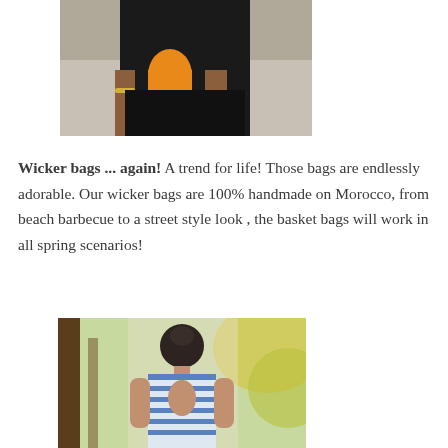[Figure (photo): A person in a black outfit holding a colorful tassel bag, street background]
Wicker bags ... again! A trend for life! Those bags are endlessly adorable. Our wicker bags are 100% handmade on Morocco, from beach barbecue to a street style look , the basket bags will work in all spring scenarios!
[Figure (photo): A woman seen from behind wearing a striped top, tropical outdoor background with palm trees]